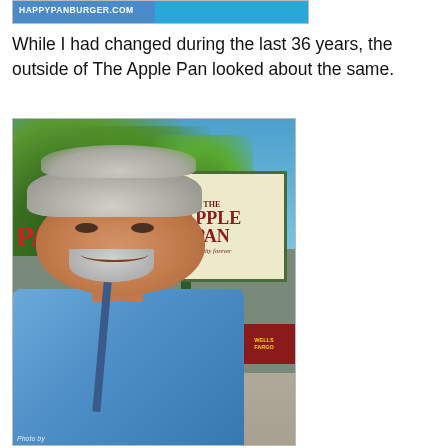[Figure (photo): Partial view of a website banner/header image showing 'HAPPYPANBURGER.COM' text on a blue/teal background]
While I had changed during the last 36 years, the outside of The Apple Pan looked about the same.
[Figure (photo): A man with grey hair and a blue shirt smiling in front of The Apple Pan restaurant sign. The sign reads 'THE APPLE PAN Quality forever'. A Wells Fargo sign is visible in the background. Trees and blue sky behind.]